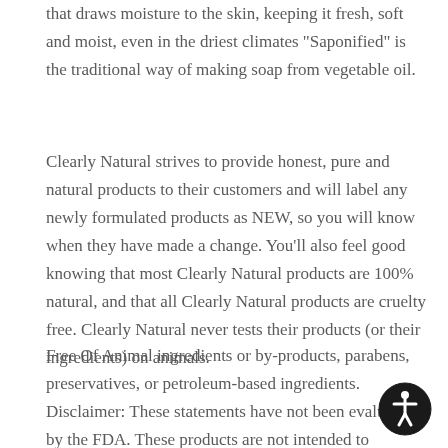that draws moisture to the skin, keeping it fresh, soft and moist, even in the driest climates "Saponified" is the traditional way of making soap from vegetable oil.
Clearly Natural strives to provide honest, pure and natural products to their customers and will label any newly formulated products as NEW, so you will know when they have made a change. You'll also feel good knowing that most Clearly Natural products are 100% natural, and that all Clearly Natural products are cruelty free. Clearly Natural never tests their products (or their ingredients) on animals.
Free Of Animal ingredients or by-products, parabens, preservatives, or petroleum-based ingredients. Disclaimer: These statements have not been evaluated by the FDA. These products are not intended to diagnose, treat, cure, or prevent any disease.